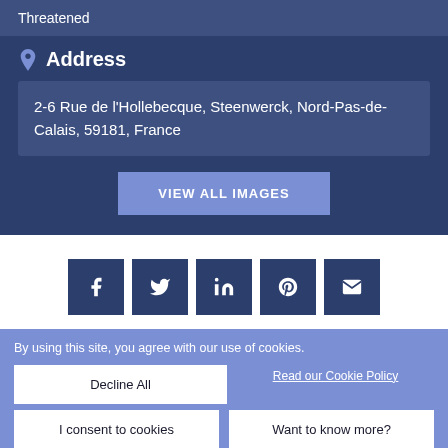Threatened
Address
2-6 Rue de l'Hollebecque, Steenwerck, Nord-Pas-de-Calais, 59181, France
VIEW ALL IMAGES
[Figure (infographic): Row of 5 social media icon buttons: Facebook, Twitter, LinkedIn, Pinterest, Email — all dark navy blue square buttons with white icons]
By using this site, you agree with our use of cookies.
Decline All
Read our Cookie Policy
I consent to cookies
Want to know more?